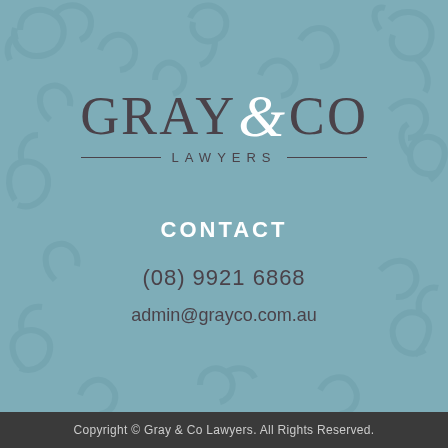[Figure (logo): Gray & Co Lawyers logo with decorative ampersand, subtitle LAWYERS with horizontal rules]
CONTACT
(08) 9921 6868
admin@grayco.com.au
Copyright © Gray & Co Lawyers. All Rights Reserved.